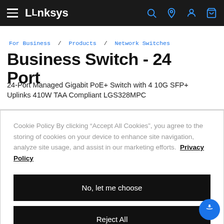Linksys
For Business / Products / Network Switches
Business Switch - 24 Port
24-Port Managed Gigabit PoE+ Switch with 4 10G SFP+ Uplinks 410W TAA Compliant LGS328MPC
Cookie Policy By clicking “Accept All Cookies”, you agree to the storing of cookies on your device to enhance site navigation, analyze site usage, and assist in our marketing efforts. Privacy Policy
No, let me choose
Reject All